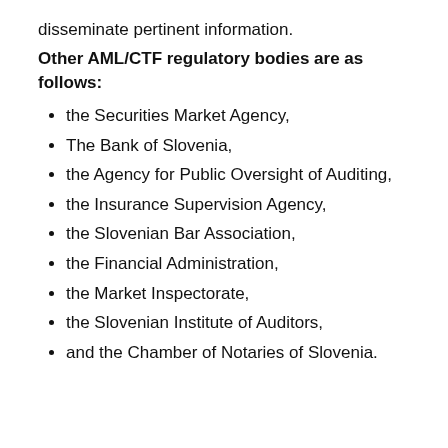disseminate pertinent information.
Other AML/CTF regulatory bodies are as follows:
the Securities Market Agency,
The Bank of Slovenia,
the Agency for Public Oversight of Auditing,
the Insurance Supervision Agency,
the Slovenian Bar Association,
the Financial Administration,
the Market Inspectorate,
the Slovenian Institute of Auditors,
and the Chamber of Notaries of Slovenia.